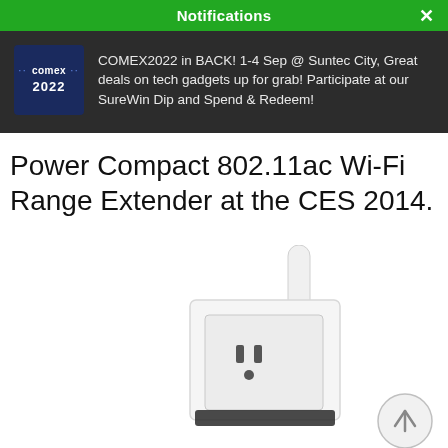Notifications
COMEX2022 in BACK! 1-4 Sep @ Suntec City, Great deals on tech gadgets up for grab! Participate at our SureWin Dip and Spend & Redeem!
Power Compact 802.11ac Wi-Fi Range Extender at the CES 2014.
[Figure (photo): White Wi-Fi range extender plugged into a wall outlet, with an antenna extending upward. A scroll-up arrow button is visible in the bottom right corner.]